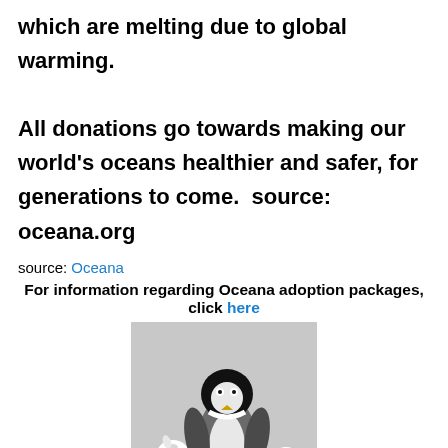which are melting due to global warming.

All donations go towards making our world's oceans healthier and safer, for generations to come.  source: oceana.org
source: Oceana
For information regarding Oceana adoption packages, click here
[Figure (photo): Stuffed animal toys: a penguin and two white seal plush toys on a light gray background]
dru...